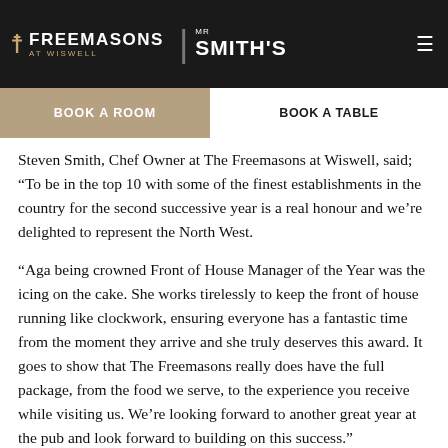Freemasons at Wiswell | Mr Smith's — navigation header with BOOK A ROOM and BOOK A TABLE buttons
7. Harwood Arms, Fulham, London
8. The Hardwick, Abergavenny, Wales
9. The Kingham Plough, Kingham, Oxfordshire
10. The Masons Arms, K[obscured]
Steven Smith, Chef Owner at The Freemasons at Wiswell, said; “To be in the top 10 with some of the finest establishments in the country for the second successive year is a real honour and we’re delighted to represent the North West.
“Aga being crowned Front of House Manager of the Year was the icing on the cake. She works tirelessly to keep the front of house running like clockwork, ensuring everyone has a fantastic time from the moment they arrive and she truly deserves this award. It goes to show that The Freemasons really does have the full package, from the food we serve, to the experience you receive while visiting us. We’re looking forward to another great year at the pub and look forward to building on this success.”
You can see the full list at the new Top 50 Gastropubs